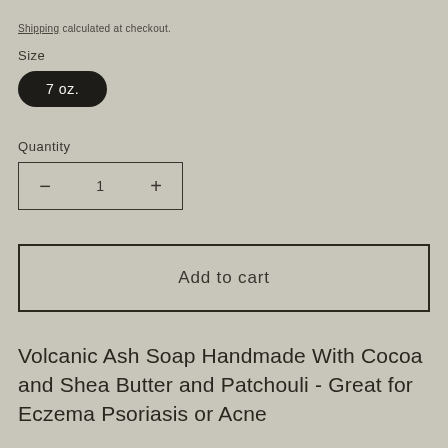Shipping calculated at checkout.
Size
7 oz.
Quantity
1
Add to cart
Volcanic Ash Soap Handmade With Cocoa and Shea Butter and Patchouli - Great for Eczema Psoriasis or Acne